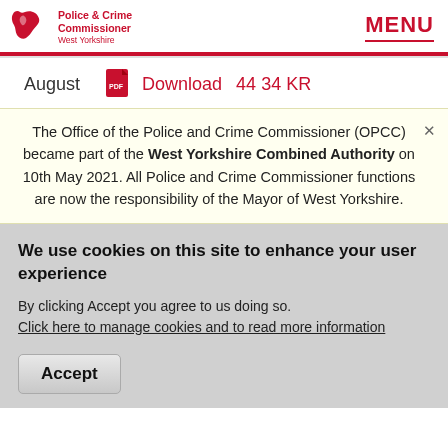[Figure (logo): Police & Crime Commissioner West Yorkshire logo — red map shape icon with red text]
MENU
August   Download   44 34 KR
The Office of the Police and Crime Commissioner (OPCC) became part of the West Yorkshire Combined Authority on 10th May 2021. All Police and Crime Commissioner functions are now the responsibility of the Mayor of West Yorkshire.
We use cookies on this site to enhance your user experience
By clicking Accept you agree to us doing so. Click here to manage cookies and to read more information
Accept